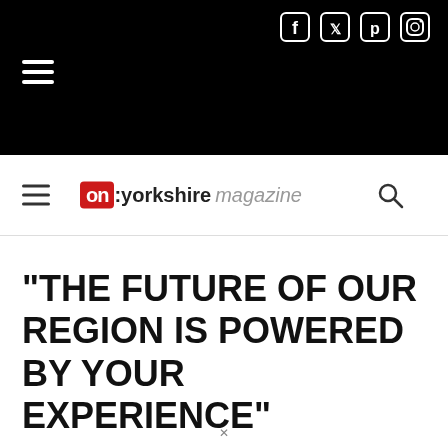[Figure (screenshot): Black top banner with social media icons (Facebook, Twitter, Pinterest, Instagram) and hamburger menu icon on white background]
on:yorkshire magazine
“THE FUTURE OF OUR REGION IS POWERED BY YOUR EXPERIENCE”